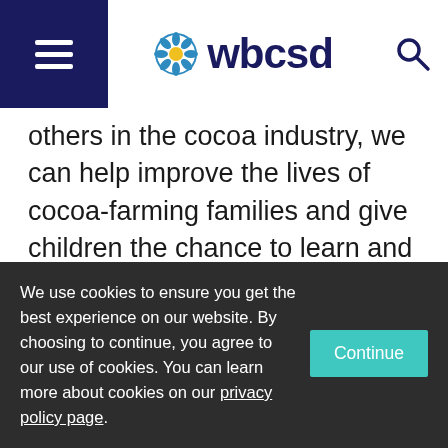wbcsd
others in the cocoa industry, we can help improve the lives of cocoa-farming families and give children the chance to learn and grow in the safe and healthy environment they deserve."
Creating cash incentives to grow income
We use cookies to ensure you get the best experience on our website. By choosing to continue, you agree to our use of cookies. You can learn more about cookies on our privacy policy page.